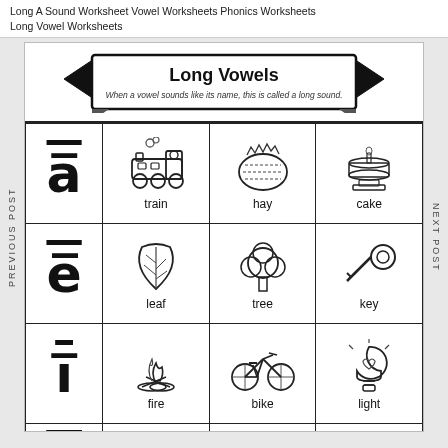Long A Sound Worksheet Vowel Worksheets Phonics Worksheets Long Vowel Worksheets
[Figure (illustration): Long Vowels educational worksheet with banner title, subtitle, and a grid showing long vowel sounds (a, e, i, o) with illustrations: train, hay, cake (long a); leaf, tree, key (long e); fire, bike, light (long i); partial row for long o]
Long Vowels
When a vowel sounds like its name, this is called a long sound.